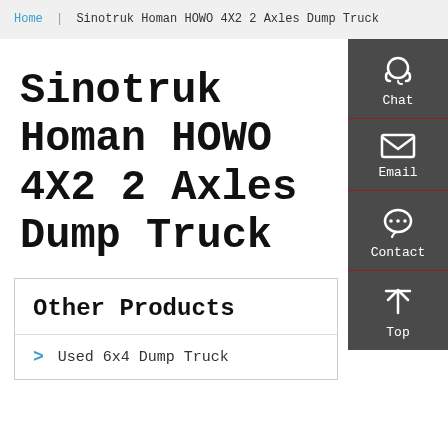Home | Sinotruk Homan HOWO 4X2 2 Axles Dump Truck
Sinotruk Homan HOWO 4X2 2 Axles Dump Truck
Other Products
Used 6x4 Dump Truck